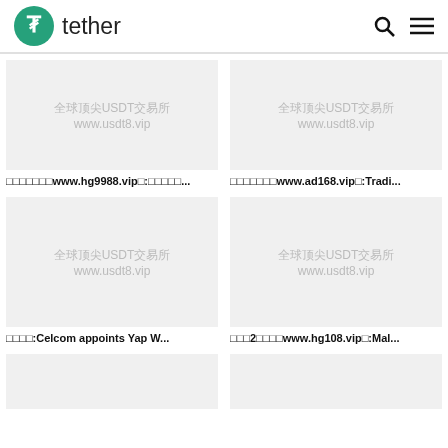tether
[Figure (screenshot): Card image placeholder with watermark text: 全球顶尖USDT交易所 www.usdt8.vip]
□□□□□□□www.hg9988.vip□:□□□□□...
[Figure (screenshot): Card image placeholder with watermark text: 全球顶尖USDT交易所 www.usdt8.vip]
□□□□□□□www.ad168.vip□:Tradi...
[Figure (screenshot): Card image placeholder with watermark text: 全球顶尖USDT交易所 www.usdt8.vip]
□□□□:Celcom appoints Yap W...
[Figure (screenshot): Card image placeholder with watermark text: 全球顶尖USDT交易所 www.usdt8.vip]
□□□2□□□□www.hg108.vip□:Mal...
[Figure (screenshot): Partial card image placeholder]
[Figure (screenshot): Partial card image placeholder]